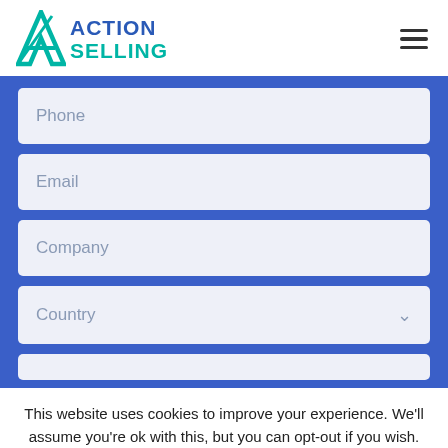[Figure (logo): Action Selling logo with stylized A icon in teal and blue text reading ACTION SELLING]
[Figure (other): Hamburger menu icon with three horizontal lines]
Phone
Email
Company
Country
This website uses cookies to improve your experience. We'll assume you're ok with this, but you can opt-out if you wish.
Accept
Read More